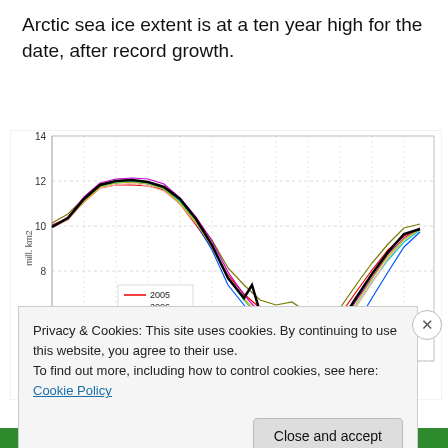Arctic sea ice extent is at a ten year high for the date, after record growth.
[Figure (line-chart): Multi-year line chart showing Arctic sea ice extent over a year (mill. km2). Lines for years 2005-2011 plus a thick black line. Values range from about 4 mill. km2 minimum in autumn to 14 mill. km2 maximum in spring. Legend shows: 2005 (red), 2006 (dark green/olive), 2007 (blue), 2008 (magenta/purple), 2009 (cyan/light blue), 2010 (pink/salmon), 2011 (yellow-green).]
Privacy & Cookies: This site uses cookies. By continuing to use this website, you agree to their use.
To find out more, including how to control cookies, see here: Cookie Policy
Close and accept